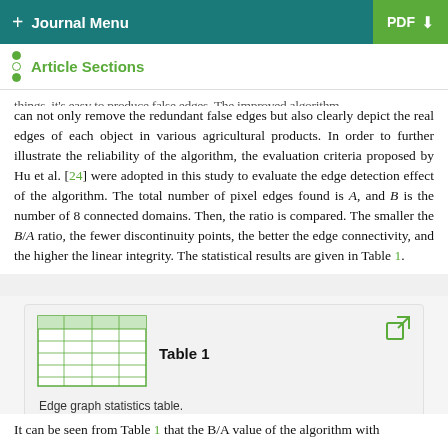+ Journal Menu    PDF ↓
Article Sections
can not only remove the redundant false edges but also clearly depict the real edges of each object in various agricultural products. In order to further illustrate the reliability of the algorithm, the evaluation criteria proposed by Hu et al. [24] were adopted in this study to evaluate the edge detection effect of the algorithm. The total number of pixel edges found is A, and B is the number of 8 connected domains. Then, the ratio is compared. The smaller the B/A ratio, the fewer discontinuity points, the better the edge connectivity, and the higher the linear integrity. The statistical results are given in Table 1.
Table 1
Edge graph statistics table.
It can be seen from Table 1 that the B/A value of the algorithm with